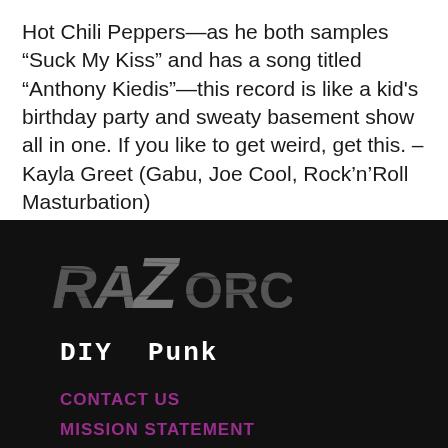Hot Chili Peppers—as he both samples “Suck My Kiss” and has a song titled “Anthony Kiedis”—this record is like a kid's birthday party and sweaty basement show all in one. If you like to get weird, get this. –Kayla Greet (Gabu, Joe Cool, Rock’n’Roll Masturbation)
[Figure (logo): Razorcake logo in distressed grey lettering on black background]
DIY Punk
CONTACT US
MISSION STATEMENT